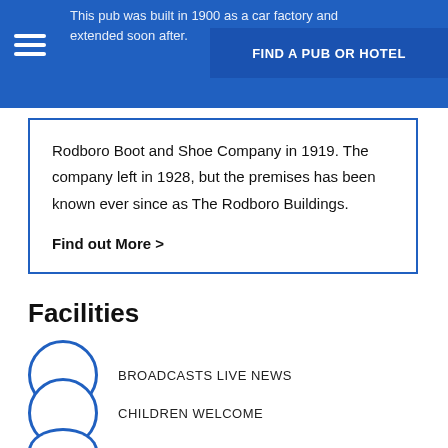This pub was built in 1900 as a car factory and extended soon after. FIND A PUB OR HOTEL
Rodboro Boot and Shoe Company in 1919. The company left in 1928, but the premises has been known ever since as The Rodboro Buildings.
Find out More >
Facilities
BROADCASTS LIVE NEWS
CHILDREN WELCOME